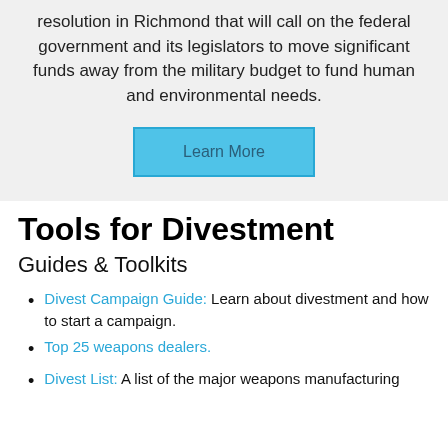resolution in Richmond that will call on the federal government and its legislators to move significant funds away from the military budget to fund human and environmental needs.
Learn More
Tools for Divestment
Guides & Toolkits
Divest Campaign Guide: Learn about divestment and how to start a campaign.
Top 25 weapons dealers.
Divest List: A list of the major weapons manufacturing